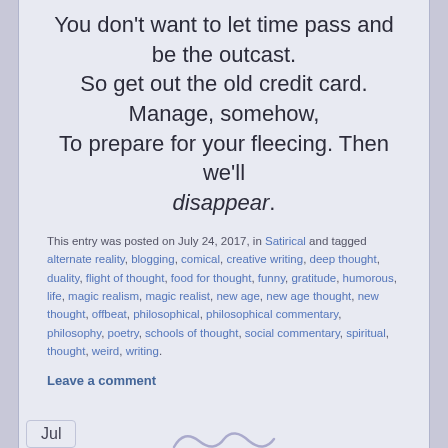You don't want to let time pass and be the outcast.
So get out the old credit card. Manage, somehow,
To prepare for your fleecing. Then we'll disappear.
This entry was posted on July 24, 2017, in Satirical and tagged alternate reality, blogging, comical, creative writing, deep thought, duality, flight of thought, food for thought, funny, gratitude, humorous, life, magic realism, magic realist, new age, new age thought, new thought, offbeat, philosophical, philosophical commentary, philosophy, poetry, schools of thought, social commentary, spiritual, thought, weird, writing.
Leave a comment
Jul